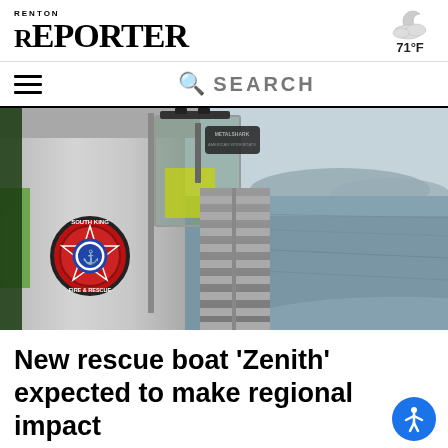Renton Reporter | 71°F
[Figure (photo): Side view of an aluminum rescue boat named Zenith on open water, showing a South King Fire & Rescue badge/emblem on the boat's hull, glass windshield, metal railings, and calm water with hills in the background]
New rescue boat 'Zenith' expected to make regional impact